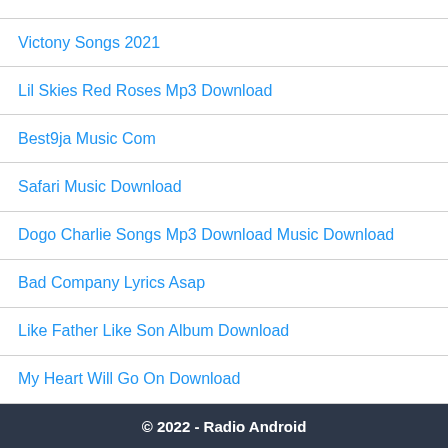Victony Songs 2021
Lil Skies Red Roses Mp3 Download
Best9ja Music Com
Safari Music Download
Dogo Charlie Songs Mp3 Download Music Download
Bad Company Lyrics Asap
Like Father Like Son Album Download
My Heart Will Go On Download
© 2022 - Radio Android